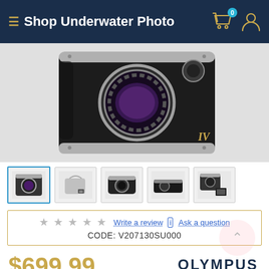Shop Underwater Photo
[Figure (photo): Olympus OM-D E-M10 Mark IV mirrorless camera body, front view, silver/black, showing lens mount and sensor]
[Figure (photo): Thumbnail row showing 5 product photos: camera front view (selected), camera bag/accessory kit, camera front view dark, camera side/top view, camera with accessories]
Write a review  Ask a question
CODE: V207130SU000
$699.99
[Figure (logo): OLYMPUS brand logo in dark navy, with gold underline]